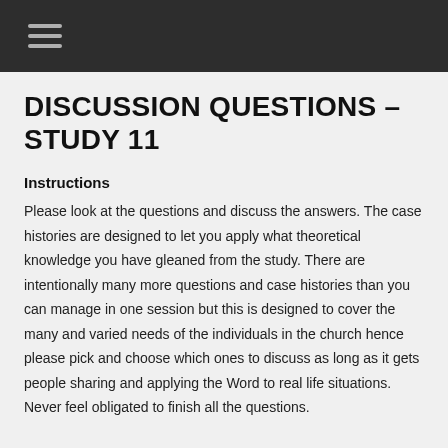☰
DISCUSSION QUESTIONS – STUDY 11
Instructions
Please look at the questions and discuss the answers. The case histories are designed to let you apply what theoretical knowledge you have gleaned from the study. There are intentionally many more questions and case histories than you can manage in one session but this is designed to cover the many and varied needs of the individuals in the church hence please pick and choose which ones to discuss as long as it gets people sharing and applying the Word to real life situations. Never feel obligated to finish all the questions.